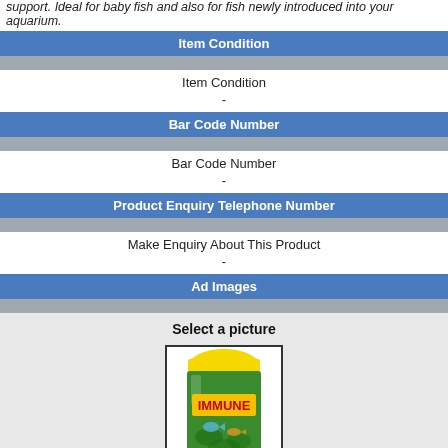support. Ideal for baby fish and also for fish newly introduced into your aquarium.
Item Condition
Item Condition
-
Bar Code Number
Bar Code Number
-
Product Enquiry Telephone Number
Make Enquiry About This Product
-
Ad Images
Select a picture
[Figure (photo): A small cylindrical container with a yellow lid, green label reading IMMUNE, featuring aquarium fish imagery — a fish food product.]
View Full Size Images